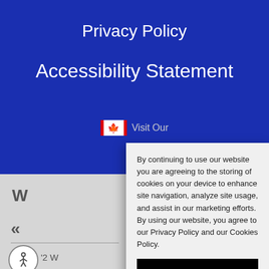Privacy Policy
Accessibility Statement
Visit Our
W
«
'2 W
By continuing to use our website you are agreeing to the storing of cookies on your device to enhance site navigation, analyze site usage, and assist in our marketing efforts. By using our website, you agree to our Privacy Policy and our Cookies Policy.
I agree